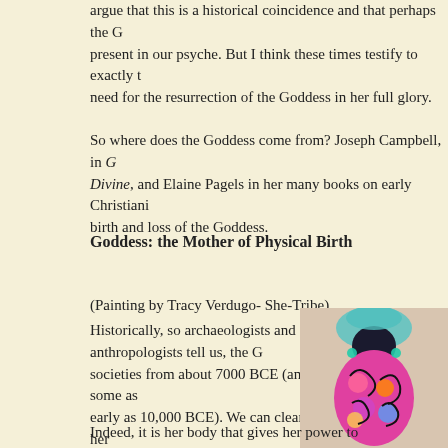argue that this is a historical coincidence and that perhaps the G... present in our psyche. But I think these times testify to exactly t... need for the resurrection of the Goddess in her full glory.
So where does the Goddess come from? Joseph Campbell, in G... Divine, and Elaine Pagels in her many books on early Christiani... birth and loss of the Goddess.
Goddess: the Mother of Physical Birth
(Painting by Tracy Verdugo- She-Tribe)
Historically, so archaeologists and anthropologists tell us, the G... societies from about 7000 BCE (and some as early as 10,000 BCE). We can clearly see her through the eyes of people who worshipped her as a full-bodied, voluptuous goddess certain of the power of her body.
[Figure (illustration): Colorful painting of a goddess figure, full-bodied, with vibrant multicolored floral/abstract patterns, depicted by Tracy Verdugo of She-Tribe]
Indeed, it is her body that gives her power to